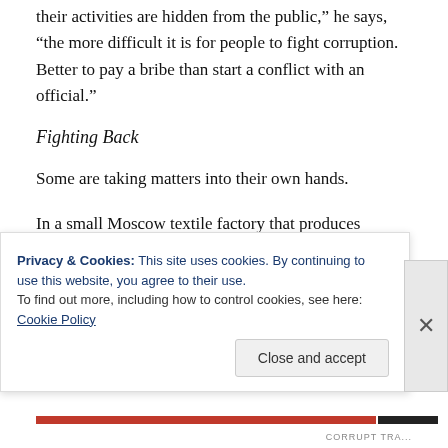their activities are hidden from the public,” he says, “the more difficult it is for people to fight corruption. Better to pay a bribe than start a conflict with an official.”
Fighting Back
Some are taking matters into their own hands.
In a small Moscow textile factory that produces uniforms for the likes of McDonald’s, Pepsi, and Procter & Gamble, workers bunch over sewing
Privacy & Cookies: This site uses cookies. By continuing to use this website, you agree to their use.
To find out more, including how to control cookies, see here: Cookie Policy